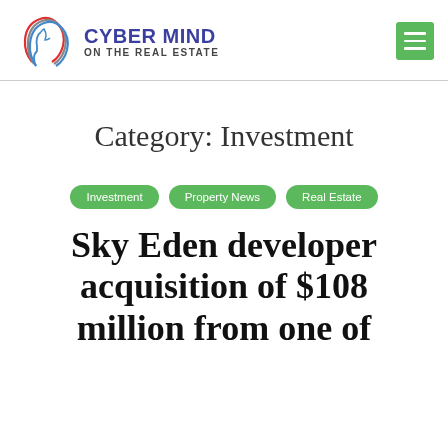[Figure (logo): Cyber Mind on the Real Estate logo with stylized head outline in red and blue, and bold purple/navy text reading CYBER MIND ON THE REAL ESTATE]
Category: Investment
Investment
Property News
Real Estate
Sky Eden developer acquisition of $108 million from one of